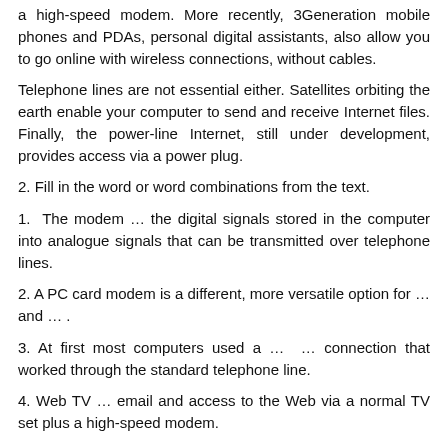a high-speed modem. More recently, 3Generation mobile phones and PDAs, personal digital assistants, also allow you to go online with wireless connections, without cables.
Telephone lines are not essential either. Satellites orbiting the earth enable your computer to send and receive Internet files. Finally, the power-line Internet, still under development, provides access via a power plug.
2. Fill in the word or word combinations from the text.
1.  The modem … the digital signals stored in the computer into analogue signals that can be transmitted over telephone lines.
2. A PC card modem is a different, more versatile option for … and … .
3. At first most computers used a … ... connection that worked through the standard telephone line.
4. Web TV … email and access to the Web via a normal TV set plus a high-speed modem.